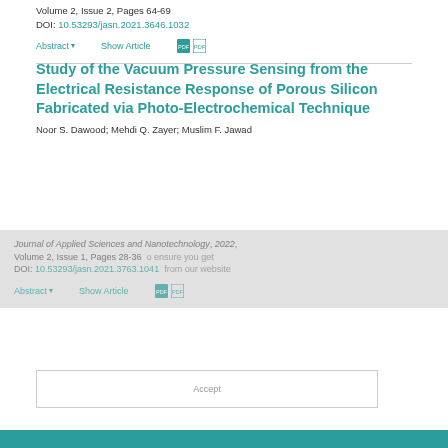Volume 2, Issue 2, Pages 64-69
DOI: 10.53293/jasn.2021.3646.1032
Abstract ▾   Show Article
Study of the Vacuum Pressure Sensing from the Electrical Resistance Response of Porous Silicon Fabricated via Photo-Electrochemical Technique
Noor S. Dawood; Mehdi Q. Zayer; Muslim F. Jawad
Journal of Applied Sciences and Nanotechnology, 2022, Volume 2, Issue 1, Pages 28-36
DOI: 10.53293/jasn.2021.3763.1041
Abstract ▾   Show Article